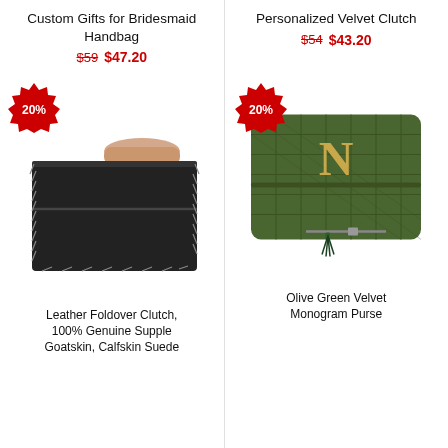Custom Gifts for Bridesmaid Handbag
$59 $47.20
[Figure (photo): Black leather foldover clutch handbag held by hand, with whipstitch edges]
Leather Foldover Clutch, 100% Genuine Supple Goatskin, Calfskin Suede
Personalized Velvet Clutch
$54 $43.20
[Figure (photo): Olive green quilted velvet clutch purse with gold monogram letter N and tassel]
Olive Green Velvet Monogram Purse